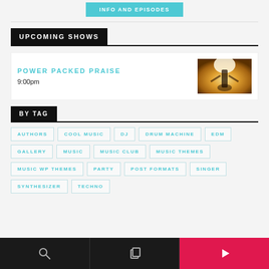[Figure (other): Teal/cyan button labeled INFO AND EPISODES]
UPCOMING SHOWS
[Figure (photo): Show card: POWER PACKED PRAISE at 9:00pm with a photo of a silhouetted figure in bright golden backlight]
BY TAG
AUTHORS
COOL MUSIC
DJ
DRUM MACHINE
EDM
GALLERY
MUSIC
MUSIC CLUB
MUSIC THEMES
MUSIC WP THEMES
PARTY
POST FORMATS
SINGER
SYNTHESIZER
TECHNO
Search | Pages | Play